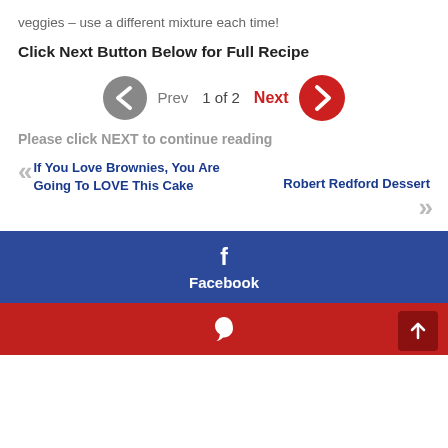veggies – use a different mixture each time!
Click Next Button Below for Full Recipe
[Figure (infographic): Navigation row with gray left arrow circle, Prev label, 1 of 2 text, red Next label, red right arrow circle]
Please click NEXT to continue reading
If You Love Brownies, You Are Going To LOVE This Cake
Robert Redford Dessert
[Figure (infographic): Facebook share button - dark blue background with f icon and Facebook label]
[Figure (infographic): Pinterest share button - red background with P icon and scroll-to-top arrow button]